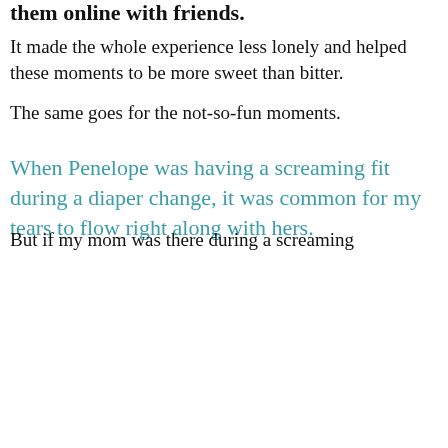them online with friends.
It made the whole experience less lonely and helped these moments to be more sweet than bitter.
The same goes for the not-so-fun moments.
When Penelope was having a screaming fit during a diaper change, it was common for my tears to flow right along with hers.
But if my mom was there during a screaming